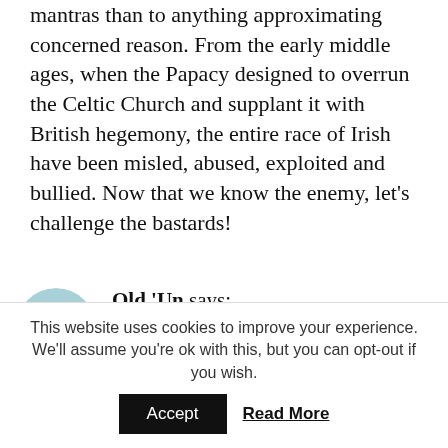mantras than to anything approximating concerned reason. From the early middle ages, when the Papacy designed to overrun the Celtic Church and supplant it with British hegemony, the entire race of Irish have been misled, abused, exploited and bullied. Now that we know the enemy, let’s challenge the bastards!
Old ‘Un says:
June 1, 2014 at 5:06 pm
Was wondering when someone would get around to blaming ‘The Brits’
This website uses cookies to improve your experience. We’ll assume you’re ok with this, but you can opt-out if you wish.
Accept
Read More